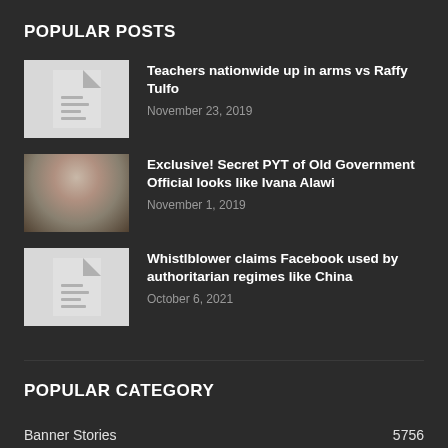POPULAR POSTS
Teachers nationwide up in arms vs Raffy Tulfo — November 23, 2019
Exclusive! Secret PYT of Old Government Official looks like Ivana Alawi — November 1, 2019
Whistlblower claims Facebook used by authoritarian regimes like China — October 6, 2021
POPULAR CATEGORY
Banner Stories 5756
BANTAY COVID-19 1600